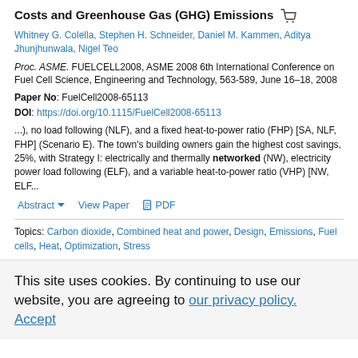Costs and Greenhouse Gas (GHG) Emissions
Whitney G. Colella, Stephen H. Schneider, Daniel M. Kammen, Aditya Jhunjhunwala, Nigel Teo
Proc. ASME. FUELCELL2008, ASME 2008 6th International Conference on Fuel Cell Science, Engineering and Technology, 563-589, June 16–18, 2008
Paper No: FuelCell2008-65113
DOI: https://doi.org/10.1115/FuelCell2008-65113
...), no load following (NLF), and a fixed heat-to-power ratio (FHP) [SA, NLF, FHP] (Scenario E). The town's building owners gain the highest cost savings, 25%, with Strategy I: electrically and thermally networked (NW), electricity power load following (ELF), and a variable heat-to-power ratio (VHP) [NW, ELF...
Abstract  View Paper  PDF
Topics: Carbon dioxide, Combined heat and power, Design, Emissions, Fuel cells, Heat, Optimization, Stress
This site uses cookies. By continuing to use our website, you are agreeing to our privacy policy. Accept